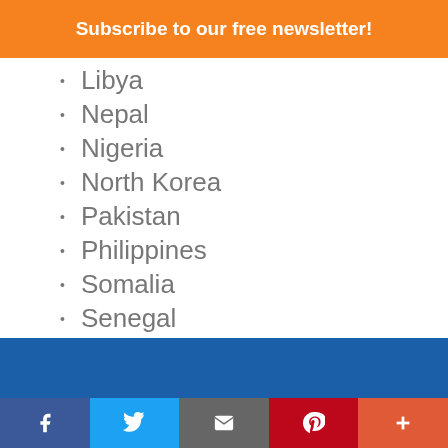Subscribe to our free newsletter!
Libya
Nepal
Nigeria
North Korea
Pakistan
Philippines
Somalia
Senegal
Sri Lanka
Syria
Vietnam
Yemen
Social sharing bar: Facebook, Twitter, Email, Pinterest, More